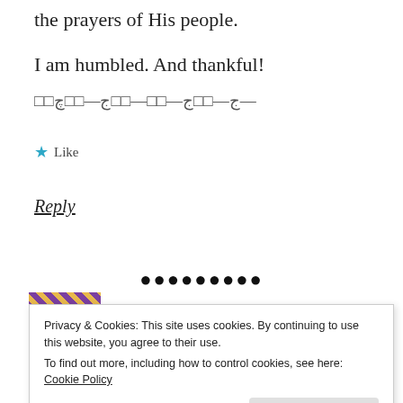the prayers of His people.
I am humbled. And thankful!
□□ج—□□ج—□□—□□ج—□□چ—
★ Like
Reply
•••••••••
Privacy & Cookies: This site uses cookies. By continuing to use this website, you agree to their use.
To find out more, including how to control cookies, see here: Cookie Policy
Close and accept